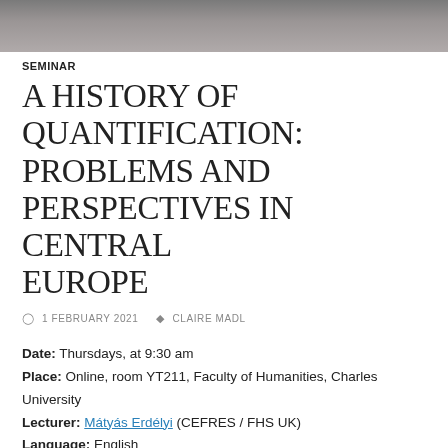[Figure (photo): Grayscale photo strip at the top of the page showing a dark textured background]
SEMINAR
A HISTORY OF QUANTIFICATION: PROBLEMS AND PERSPECTIVES IN CENTRAL EUROPE
1 FEBRUARY 2021   CLAIRE MADL
Date: Thursdays, at 9:30 am
Place: Online, room YT211, Faculty of Humanities, Charles University
Lecturer: Mátyás Erdélyi (CEFRES / FHS UK)
Language: English